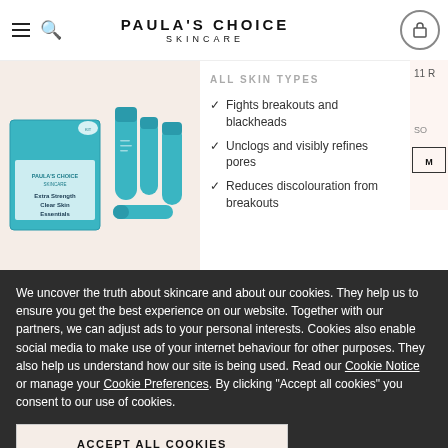PAULA'S CHOICE SKINCARE
[Figure (photo): Paula's Choice Extra Strength Clear Skin Essentials kit with teal/blue tubes and product box on pink background]
ALL SKIN TYPES
Fights breakouts and blackheads
Unclogs and visibly refines pores
Reduces discolouration from breakouts
We uncover the truth about skincare and about our cookies. They help us to ensure you get the best experience on our website. Together with our partners, we can adjust ads to your personal interests. Cookies also enable social media to make use of your internet behaviour for other purposes. They also help us understand how our site is being used. Read our Cookie Notice or manage your Cookie Preferences. By clicking "Accept all cookies" you consent to our use of cookies.
ACCEPT ALL COOKIES
Only accept required cookies